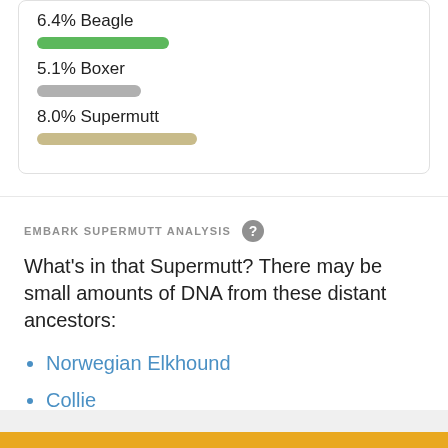6.4% Beagle
[Figure (bar-chart): Green progress bar representing 6.4% Beagle]
5.1% Boxer
[Figure (bar-chart): Gray progress bar representing 5.1% Boxer]
8.0% Supermutt
[Figure (bar-chart): Tan/beige progress bar representing 8.0% Supermutt]
EMBARK SUPERMUTT ANALYSIS
What's in that Supermutt? There may be small amounts of DNA from these distant ancestors:
Norwegian Elkhound
Collie